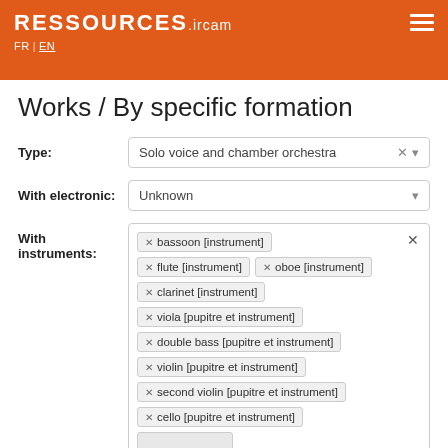RESSOURCES.IRCAM FR | EN
Works / By specific formation
Type: Solo voice and chamber orchestra
With electronic: Unknown
With instruments: bassoon [instrument], flute [instrument], oboe [instrument], clarinet [instrument], viola [pupitre et instrument], double bass [pupitre et instrument], violin [pupitre et instrument], second violin [pupitre et instrument], cello [pupitre et instrument]